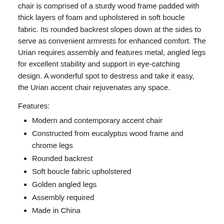chair is comprised of a sturdy wood frame padded with thick layers of foam and upholstered in soft boucle fabric. Its rounded backrest slopes down at the sides to serve as convenient armrests for enhanced comfort. The Urian requires assembly and features metal, angled legs for excellent stability and support in eye-catching design. A wonderful spot to destress and take it easy, the Urian accent chair rejuvenates any space.
Features:
Modern and contemporary accent chair
Constructed from eucalyptus wood frame and chrome legs
Rounded backrest
Soft boucle fabric upholstered
Golden angled legs
Assembly required
Made in China
Natural raw materials used for construction of our furnishings will have variations in areas such as (but not limited to) color, pattern, grain and texture. This includes substances such as wood and leather. These variations may appear in different surfaces of a single item, an area of a product when compared with that same area on an identical product, or on differing surfaces of different pieces of a matching